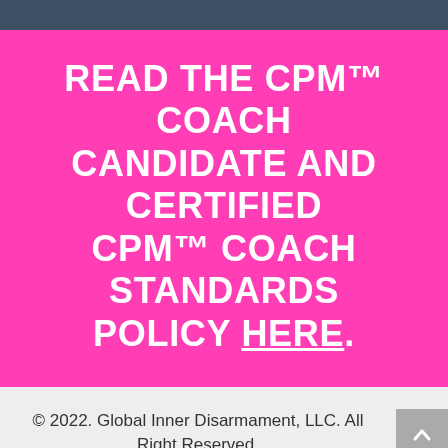READ THE CPM™ COACH CANDIDATE AND CERTIFIED CPM™ COACH STANDARDS POLICY HERE.
© 2022. Global Inner Disarmament, LLC. All Right Reserved.
Privacy Policy | Terms & Conditions | Contact